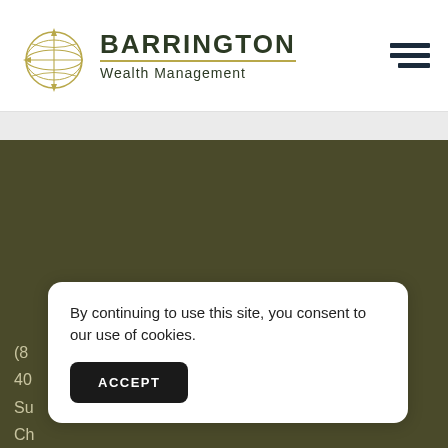[Figure (logo): Barrington Wealth Management logo with globe icon and company name]
[Figure (other): Hamburger menu icon (three horizontal dark navy bars)]
[Figure (other): Dark olive/khaki background hero image area]
(8...
40...
Su...
Ch...
By continuing to use this site, you consent to our use of cookies.
ACCEPT